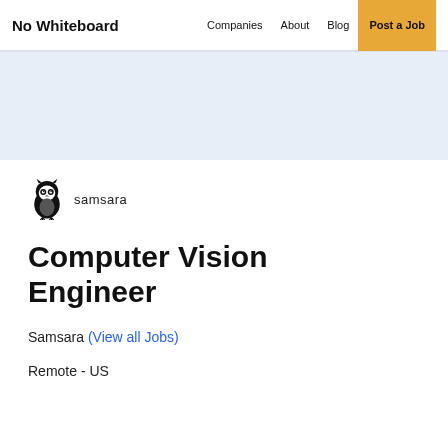No Whiteboard | Companies | About | Blog | Post a Job
[Figure (logo): Samsara owl logo with brand name 'samsara']
Computer Vision Engineer
Samsara (View all Jobs)
Remote - US